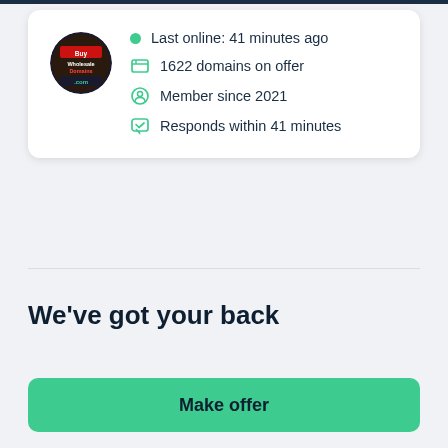[Figure (screenshot): Circular avatar logo with dark background, red and white text reading 'Buy Wholesale Domains .com']
Last online: 41 minutes ago
1622 domains on offer
Member since 2021
Responds within 41 minutes
We've got your back
Make offer